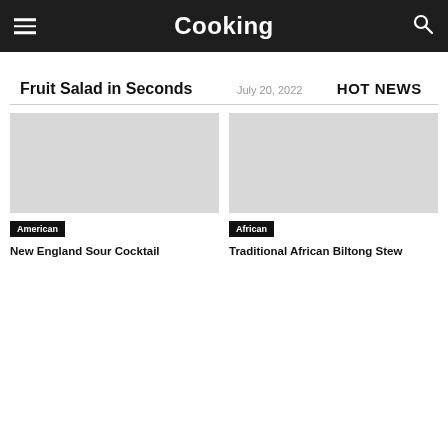Cooking
Fruit Salad in Seconds
July 20, 2022
HOT NEWS
[Figure (photo): Image placeholder for New England Sour Cocktail, tagged American]
American
New England Sour Cocktail
[Figure (photo): Image placeholder for Traditional African Biltong Stew, tagged African]
African
Traditional African Biltong Stew